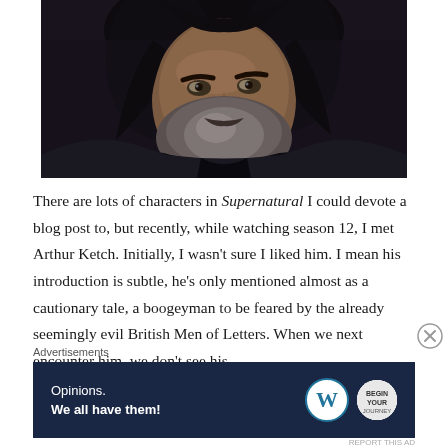[Figure (photo): Close-up portrait of a middle-aged man with long dark hair and a grey-streaked beard, wearing a dark shirt, with a dark moody background.]
There are lots of characters in Supernatural I could devote a blog post to, but recently, while watching season 12, I met Arthur Ketch. Initially, I wasn't sure I liked him. I mean his introduction is subtle, he's only mentioned almost as a cautionary tale, a boogeyman to be feared by the already seemingly evil British Men of Letters. When we next encounter him, we don't see his
Advertisements
[Figure (other): Advertisement banner with dark navy background reading 'Opinions. We all have them!' with WordPress logo and a circular NOW logo on the right.]